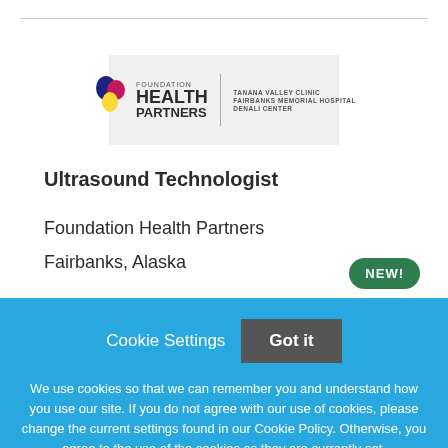[Figure (logo): Foundation Health Partners logo with Tanana Valley Clinic, Fairbanks Memorial Hospital, Denali Center text]
Ultrasound Technologist
Foundation Health Partners
Fairbanks, Alaska
NEW!
Cookie Settings  Got it
We use cookies so that we can remember you and understand how you use our site. If you do not agree with our use of cookies, please change the current settings found in our Cookie Policy. Otherwise, you agree to the use of the cookies as they are currently set.